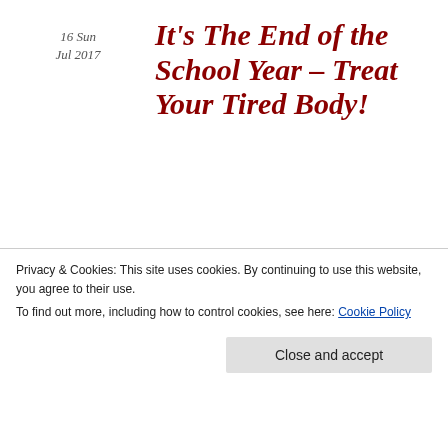16 Sun Jul 2017
It's The End of the School Year – Treat Your Tired Body!
Posted by Stark in Health and Happiness, Product Focus
≈ Leave a comment
[Figure (screenshot): Broken image icon with link text: It's The End of the School Year – Treat Your Tired Body!]
Tags
ageing, Alpine
Privacy & Cookies: This site uses cookies. By continuing to use this website, you agree to their use.
To find out more, including how to control cookies, see here: Cookie Policy
Close and accept